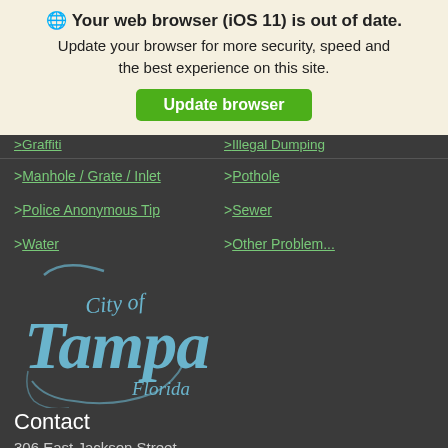🌐 Your web browser (iOS 11) is out of date. Update your browser for more security, speed and the best experience on this site. Update browser
> Graffiti
> Illegal Dumping
> Manhole / Grate / Inlet
> Pothole
> Police Anonymous Tip
> Sewer
> Water
> Other Problem...
[Figure (logo): City of Tampa Florida logo in light blue script font on dark background]
Contact
306 East Jackson Street